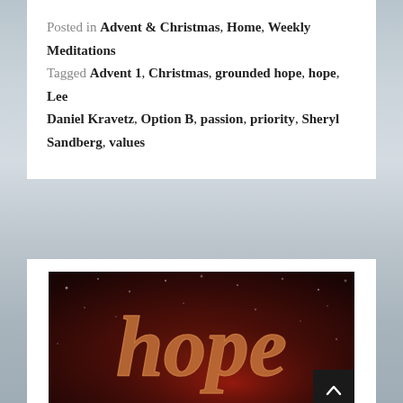Posted in Advent & Christmas, Home, Weekly Meditations
Tagged Advent 1, Christmas, grounded hope, hope, Lee Daniel Kravetz, Option B, passion, priority, Sheryl Sandberg, values
[Figure (illustration): Dark reddish-brown background with gold/copper cursive script spelling 'hope', decorated with bokeh light spots, resembling a Christmas/Advent themed decorative image.]